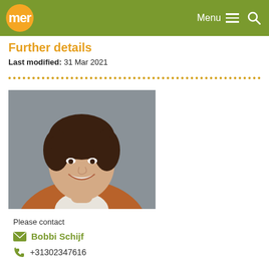mer   Menu  🔍
Further details
Last modified: 31 Mar 2021
[Figure (photo): Professional headshot of Bobbi Schijf, a woman with dark hair pulled back, wearing a brown/rust blazer over a white shirt, smiling, against a grey background]
Please contact
Bobbi Schijf
+31302347616